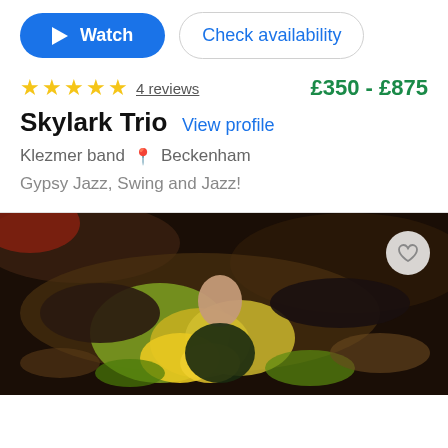Watch | Check availability
★★★★★ 4 reviews   £350 - £875
Skylark Trio  View profile
Klezmer band  📍 Beckenham
Gypsy Jazz, Swing and Jazz!
[Figure (photo): Band photo showing performers lying on the ground surrounded by flowers and foliage, viewed from above]